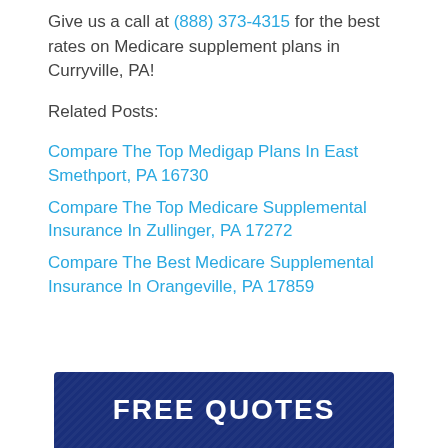Give us a call at (888) 373-4315 for the best rates on Medicare supplement plans in Curryville, PA!
Related Posts:
Compare The Top Medigap Plans In East Smethport, PA 16730
Compare The Top Medicare Supplemental Insurance In Zullinger, PA 17272
Compare The Best Medicare Supplemental Insurance In Orangeville, PA 17859
[Figure (other): FREE QUOTES button banner in dark navy blue with white bold text]